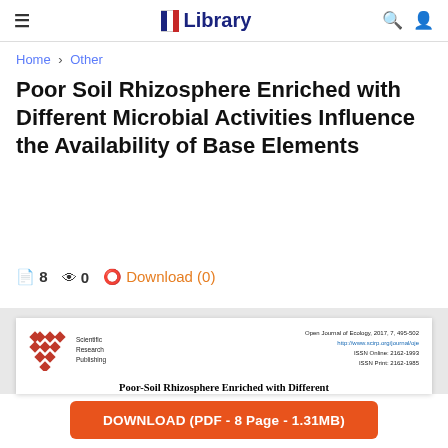≡  Library  🔍 👤
Home › Other
Poor Soil Rhizosphere Enriched with Different Microbial Activities Influence the Availability of Base Elements
📄 8  👁 0  ⬇ Download (0)
[Figure (screenshot): Preview of scientific paper from Open Journal of Ecology, 2017, 7, 495-502. Scientific Research Publishing logo on left, journal info on right. Paper title: Poor-Soil Rhizosphere Enriched with Different [Microbial Activities...]]
DOWNLOAD (PDF - 8 Page - 1.31MB)